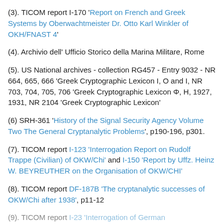(3). TICOM report I-170 'Report on French and Greek Systems by Oberwachtmeister Dr. Otto Karl Winkler of OKH/FNAST 4'
(4). Archivio dell' Ufficio Storico della Marina Militare, Rome
(5). US National archives - collection RG457 - Entry 9032 - NR 664, 665, 666 'Greek Cryptographic Lexicon I, O and I, NR 703, 704, 705, 706 'Greek Cryptographic Lexicon Φ, Η, 1927, 1931, NR 2104 'Greek Cryptographic Lexicon'
(6) SRH-361 'History of the Signal Security Agency Volume Two The General Cryptanalytic Problems', p190-196, p301.
(7). TICOM report I-123 'Interrogation Report on Rudolf Trappe (Civilian) of OKW/Chi' and I-150 'Report by Uffz. Heinz W. BEYREUTHER on the Organisation of OKW/CHI'
(8). TICOM report DF-187B 'The cryptanalytic successes of OKW/Chi after 1938', p11-12
(9). TICOM report I-23 'Interrogation of German...